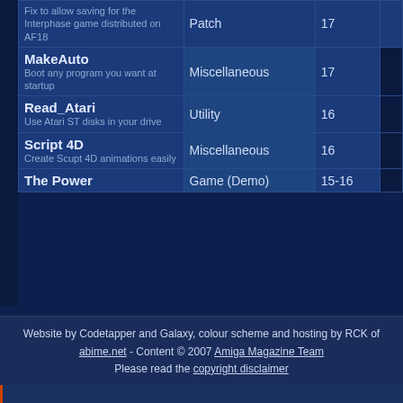| Name / Description | Type | Issue |
| --- | --- | --- |
| [partial entry]
Fix to allow saving for the Interphase game distributed on AF18 | Patch | 17 |
| MakeAuto
Boot any program you want at startup | Miscellaneous | 17 |
| Read_Atari
Use Atari ST disks in your drive | Utility | 16 |
| Script 4D
Create Scupt 4D animations easily | Miscellaneous | 16 |
| The Power | Game (Demo) | 15-16 |
Website by Codetapper and Galaxy, colour scheme and hosting by RCK of abime.net - Content © 2007 Amiga Magazine Team Please read the copyright disclaimer